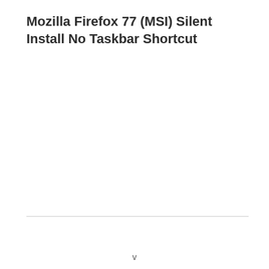Mozilla Firefox 77 (MSI) Silent Install No Taskbar Shortcut
v